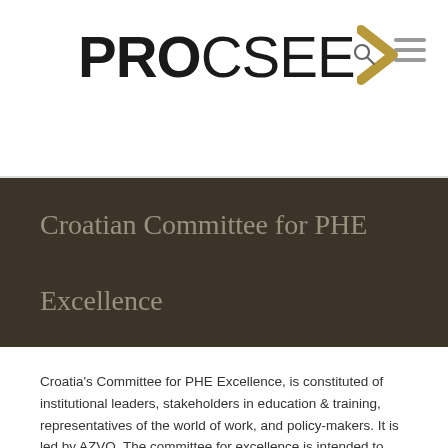PROCSEE>
Croatian Committee for PHE Excellence
Croatia's Committee for PHE Excellence, is constituted of institutional leaders, stakeholders in education & training, representatives of the world of work, and policy-makers. It is led by AZVO. The committee for excellence is intended to serve as the main national forum for discussing the state of PHE and for establishing a roadmap for the sector. If you wish to contact the Committee or request to collaborate with it, please click here.